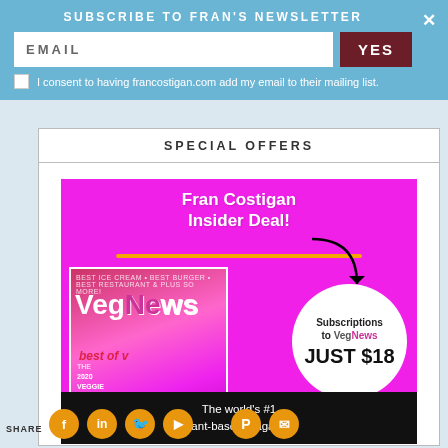SUBSCRIBE TO FRAN'S NEWSLETTER
EMAIL
YES
I consent to having francostigan.com add my email to their mailing list.
SPECIAL OFFERS
[Figure (infographic): VegNews magazine subscription advertisement on magenta background. Title reads 'Fran Costigan Insider Deal!' with underline. Shows VegNews magazine cover with 'best of v...' text and 2020 Veggie Awards. White circle says 'Subscriptions to VegNews JUST $18'. Black bar at bottom reads 'The world's #1 plant-based magazine'. Social sharing icons (Facebook, LinkedIn, Twitter, Flipboard, Pinterest, Email) at bottom in orange circles. SHARE label on left.]